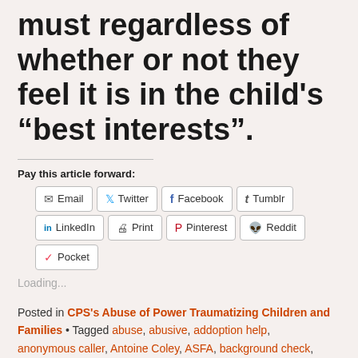must regardless of whether or not they feel it is in the child's “best interests”.
Pay this article forward:
[Figure (other): Social sharing buttons: Email, Twitter, Facebook, Tumblr, LinkedIn, Print, Pinterest, Reddit, Pocket]
Loading...
Posted in CPS’s Abuse of Power Traumatizing Children and Families • Tagged abuse, abusive, addoption help, anonymous caller, Antoine Coley, ASFA, background check,